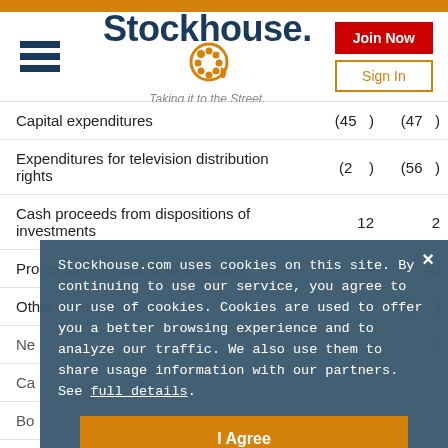Stockhouse — Taking it to the Street. Join Now | Sign In
| Item | Col1 | Col2 |
| --- | --- | --- |
| Capital expenditures | (45) | (47) |
| Expenditures for television distribution rights | (2) | (56) |
| Cash proceeds from dispositions of investments | 12 | 2 |
| Proceeds from sale of fixed assets | — | 40 |
| Other investing activities, net | 24 | (1) |
| Ne[t cash used in investing activities] |  | ) |
| Ca[sh and cash equivalents] |  |  |
| Bo[rrowing] |  |  |
| Re[payment] |  | ) |
| Re[payment] |  | ) |
Stockhouse.com uses cookies on this site. By continuing to use our service, you agree to our use of cookies. Cookies are used to offer you a better browsing experience and to analyze our traffic. We also use them to share usage information with our partners. See full details.